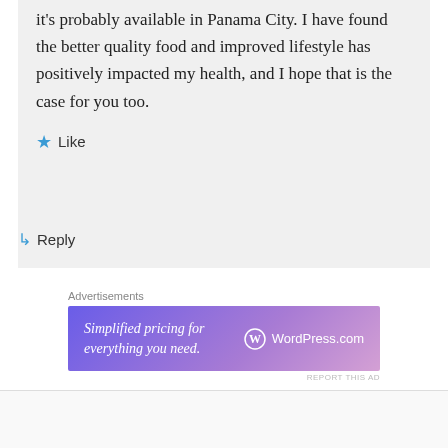it's probably available in Panama City. I have found the better quality food and improved lifestyle has positively impacted my health, and I hope that is the case for you too.
★ Like
↳ Reply
Advertisements
[Figure (screenshot): WordPress.com advertisement banner: 'Simplified pricing for everything you need.' with WordPress.com logo]
REPORT THIS AD
Advertisements
REPORT THIS AD